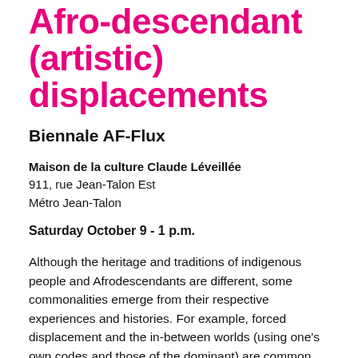Afro-descendant (artistic) displacements
Biennale AF-Flux
Maison de la culture Claude Léveillée
911, rue Jean-Talon Est
Métro Jean-Talon
Saturday October 9 - 1 p.m.
Although the heritage and traditions of indigenous people and Afrodescendants are different, some commonalities emerge from their respective experiences and histories. For example, forced displacement and the in-between worlds (using one's own codes and those of the dominant) are common experiences. This